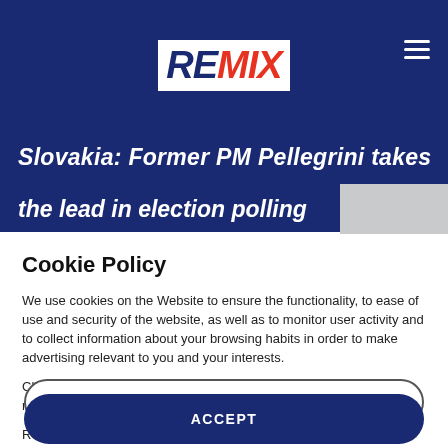[Figure (logo): REMIX logo: 'RE' in dark navy blue italic bold, 'MIX' in red italic bold, on white background, inside dark navy header bar with hamburger menu icon top right]
Slovakia: Former PM Pellegrini takes the lead in election polling
Cookie Policy
We use cookies on the Website to ensure the functionality, to ease of use and security of the website, as well as to monitor user activity and to collect information about your browsing habits in order to make advertising relevant to you and your interests.
Clicking on "Accept" you can allow all cookies. If you would like to reject or customize, please click on "Settings".
Read more: Cookie Policy
SETTINGS
ACCEPT